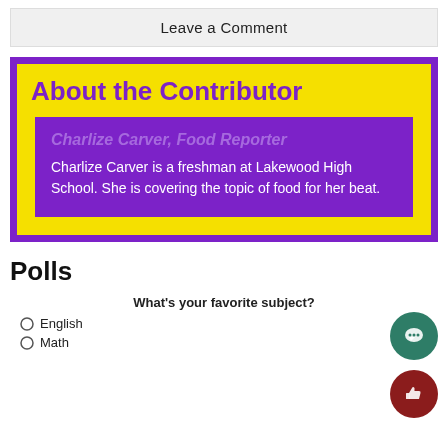Leave a Comment
About the Contributor
Charlize Carver, Food Reporter
Charlize Carver is a freshman at Lakewood High School. She is covering the topic of food for her beat.
Polls
What's your favorite subject?
English
Math